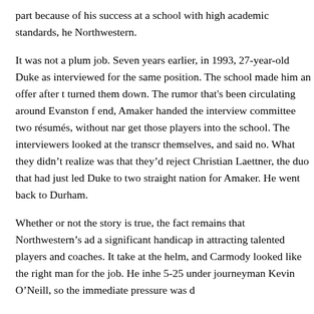part because of his success at a school with high academic standards, he Northwestern.
It was not a plum job. Seven years earlier, in 1993, 27-year-old Duke as interviewed for the same position. The school made him an offer after t turned them down. The rumor that's been circulating around Evanston f end, Amaker handed the interview committee two résumés, without nar get those players into the school. The interviewers looked at the transcr themselves, and said no. What they didn't realize was that they'd reject Christian Laettner, the duo that had just led Duke to two straight nation for Amaker. He went back to Durham.
Whether or not the story is true, the fact remains that Northwestern's ad a significant handicap in attracting talented players and coaches. It take at the helm, and Carmody looked like the right man for the job. He inhe 5-25 under journeyman Kevin O'Neill, so the immediate pressure was d
Since 1950, none of Northwestern's ten head coaches had ever manage team's best single-season record in the 15 years before Carmody arrive go back to 1968 to find the last time Northwestern had a winning recor